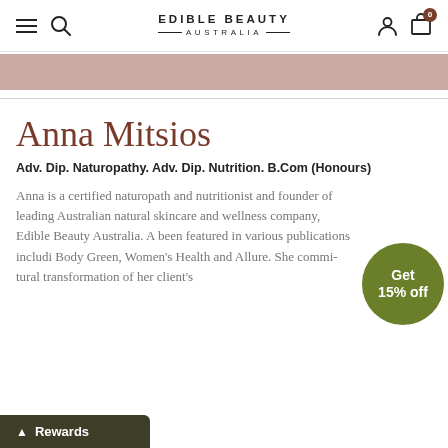EDIBLE BEAUTY AUSTRALIA — Navigation bar with hamburger menu, search icon, user icon, cart icon with badge 0
[Figure (other): Mauve/dusty rose colored horizontal banner strip]
Anna Mitsios
Adv. Dip. Naturopathy. Adv. Dip. Nutrition. B.Com (Honours)
Anna is a certified naturopath and nutritionist and founder of leading Australian natural skincare and wellness company, Edible Beauty Australia. A been featured in various publications includi Body Green, Women's Health and Allure. She commi tural transformation of her client's
[Figure (infographic): Green circular badge reading 'Get 15% off']
[Figure (infographic): Dark olive/green Rewards bar at bottom left with upward chevron and text 'Rewards']